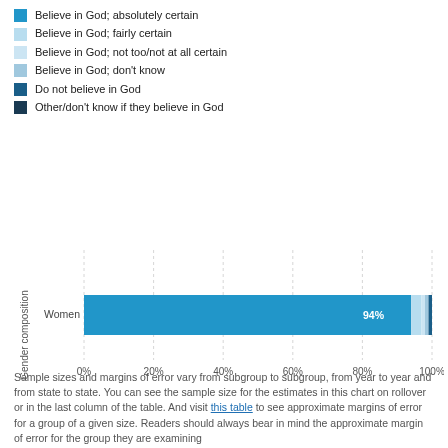Believe in God; absolutely certain
Believe in God; fairly certain
Believe in God; not too/not at all certain
Believe in God; don't know
Do not believe in God
Other/don't know if they believe in God
[Figure (stacked-bar-chart): Gender composition]
Sample sizes and margins of error vary from subgroup to subgroup, from year to year and from state to state. You can see the sample size for the estimates in this chart on rollover or in the last column of the table. And visit this table to see approximate margins of error for a group of a given size. Readers should always bear in mind the approximate margin of error for the group they are examining